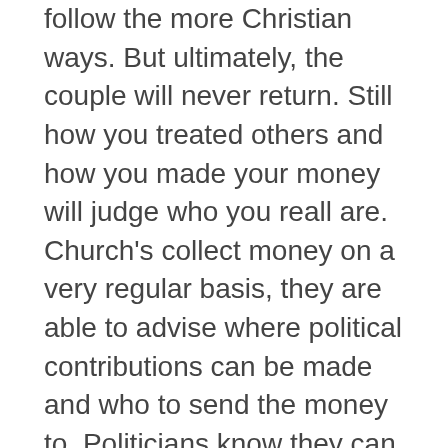follow the more Christian ways. But ultimately, the couple will never return. Still how you treated others and how you made your money will judge who you reall are. Church's collect money on a very regular basis, they are able to advise where political contributions can be made and who to send the money to. Politicians know they can get more money and contributions when they add the notion of God into their speeches. Why God Allows Suffering. I am not surprised why so many people hate God and Religion. I will not go to the next world knowing that people suffered because I supported evil. The candidate with the most religious view points will then secure the majority votes. Once the churches have got the votes they need, they make it very easy to vote. The most recent loss by Democratic candidate Kerry shows the power of the church in bringing out the votes in states like Ohio, Mississippi, Florida, Alabama, Georgia, Texas and Louisiana where religion is deeply engrained in the psyche of the people.